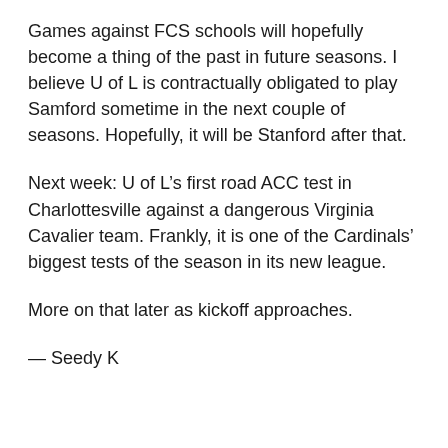Games against FCS schools will hopefully become a thing of the past in future seasons. I believe U of L is contractually obligated to play Samford sometime in the next couple of seasons. Hopefully, it will be Stanford after that.
Next week: U of L’s first road ACC test in Charlottesville against a dangerous Virginia Cavalier team. Frankly, it is one of the Cardinals’ biggest tests of the season in its new league.
More on that later as kickoff approaches.
— Seedy K